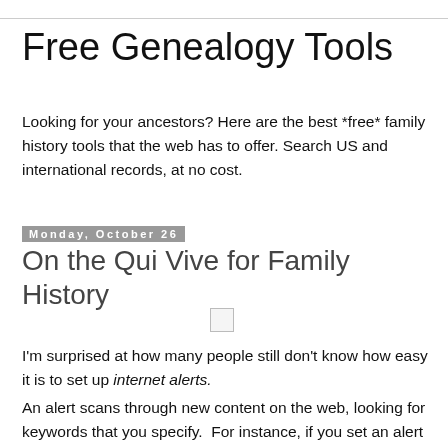Free Genealogy Tools
Looking for your ancestors? Here are the best *free* family history tools that the web has to offer. Search US and international records, at no cost.
Monday, October 26
On the Qui Vive for Family History
[Figure (other): Small placeholder image thumbnail]
I'm surprised at how many people still don't know how easy it is to set up internet alerts.
An alert scans through new content on the web, looking for keywords that you specify.  For instance, if you set an alert for the name of your great-grandfather, Shmoyim Strudlepfieffer, then any time Shmoyim's name is added to new content on the internet, you'll get an email alerting you